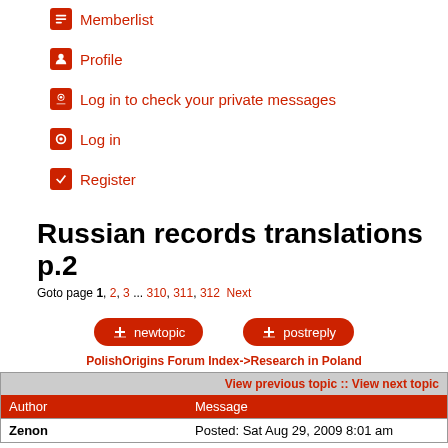Memberlist
Profile
Log in to check your private messages
Log in
Register
Russian records translations p.2
Goto page 1, 2, 3 ... 310, 311, 312  Next
[Figure (screenshot): newtopic and postreply buttons]
PolishOrigins Forum Index->Research in Poland
| Author | Message |
| --- | --- |
| Zenon | Posted: Sat Aug 29, 2009 8:01 am |